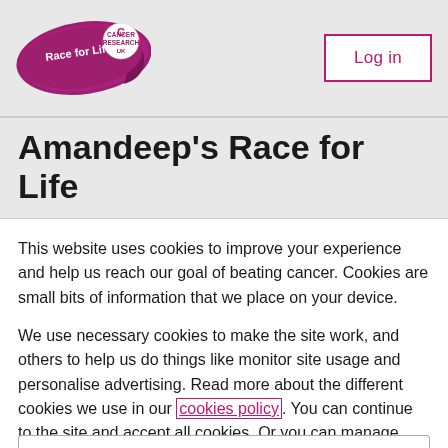[Figure (logo): Race for Life ribbon logo with Cancer Research UK text]
Log in
Amandeep's Race for Life
This website uses cookies to improve your experience and help us reach our goal of beating cancer. Cookies are small bits of information that we place on your device.
We use necessary cookies to make the site work, and others to help us do things like monitor site usage and personalise advertising. Read more about the different cookies we use in our cookies policy. You can continue to the site and accept all cookies. Or you can manage how we use them.